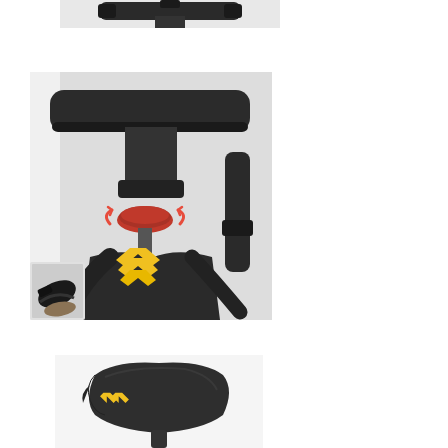[Figure (photo): Top portion of a stationary exercise/spin bike handlebar area, cropped at the top of the page, shown against white background.]
[Figure (photo): Close-up photo of a spin bike / indoor cycling bike showing the handlebar adjustment mechanism with a red rotary knob highlighted with red arrows indicating twist direction, the bike frame with a yellow brand logo (stylized stacked chevrons/bird shape), and a small inset thumbnail of bike pedal in bottom-left corner. The bike is predominantly dark grey/black.]
[Figure (photo): Close-up photo of a spin bike saddle/seat from above and front angle, showing a dark grey ergonomic seat with a small yellow brand logo (double chevron arrow) on the front nose of the seat.]